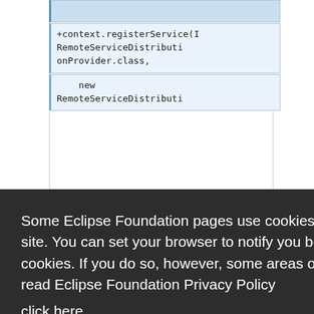[Figure (screenshot): Code editor showing Java/OSGi code with context.registerService and RemoteServiceDistributionProvider.class lines, with line addition marker (+). Blue highlighted code block visible at top.]
Some Eclipse Foundation pages use cookies to better serve you when you return to the site. You can set your browser to notify you before you receive a cookie or turn off cookies. If you do so, however, some areas of some sites may not function properly. To read Eclipse Foundation Privacy Policy click here.
[Figure (screenshot): Cookie consent dialog with Decline and Allow cookies buttons. Dark background overlay.]
[Figure (screenshot): Bottom code area showing 'public IContainer' text in blue highlighted code block.]